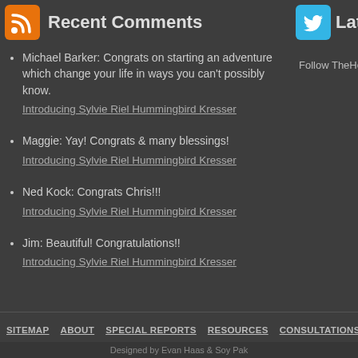Recent Comments
Michael Barker: Congrats on starting an adventure which change your life in ways you can't possibly know.
Introducing Sylvie Riel Hummingbird Kresser
Maggie: Yay! Congrats & many blessings!
Introducing Sylvie Riel Hummingbird Kresser
Ned Kock: Congrats Chris!!!
Introducing Sylvie Riel Hummingbird Kresser
Jim: Beautiful! Congratulations!!
Introducing Sylvie Riel Hummingbird Kresser
Latest t
Follow TheHealth
SITEMAP   ABOUT   SPECIAL REPORTS   RESOURCES   CONSULTATIONS   CONT
Designed by Evan Haas & Soy Pak